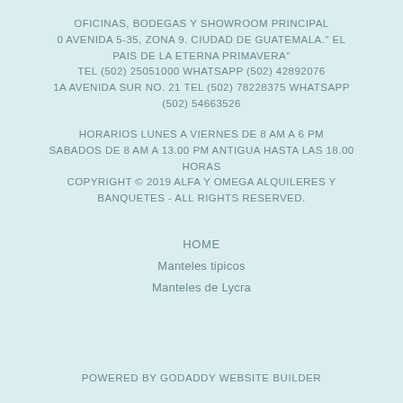OFICINAS, BODEGAS Y SHOWROOM PRINCIPAL
0 AVENIDA  5-35, ZONA 9.  CIUDAD DE GUATEMALA." EL PAIS DE LA ETERNA PRIMAVERA"
TEL (502) 25051000  WHATSAPP (502) 42892076
1A AVENIDA SUR NO. 21 TEL (502) 78228375  WHATSAPP (502) 54663526
HORARIOS LUNES A VIERNES DE 8 AM A 6 PM
SABADOS DE 8 AM A 13.00 PM ANTIGUA HASTA LAS 18.00 HORAS
COPYRIGHT © 2019 ALFA Y OMEGA ALQUILERES Y BANQUETES - ALL RIGHTS RESERVED.
HOME
Manteles tipicos
Manteles de Lycra
POWERED BY GODADDY WEBSITE BUILDER